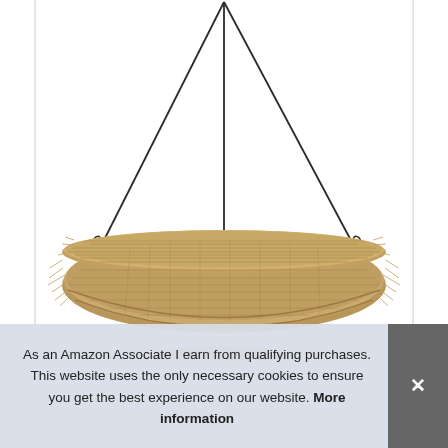[Figure (photo): A hanging basket made of coir/coconut fiber, suspended by three dark metal chains connected at the top. The basket is cylindrical/bowl-shaped, lined with natural brown fibrous coir material. White background. Bottom of another similar product is partially visible at the very bottom of the image.]
As an Amazon Associate I earn from qualifying purchases. This website uses the only necessary cookies to ensure you get the best experience on our website. More information